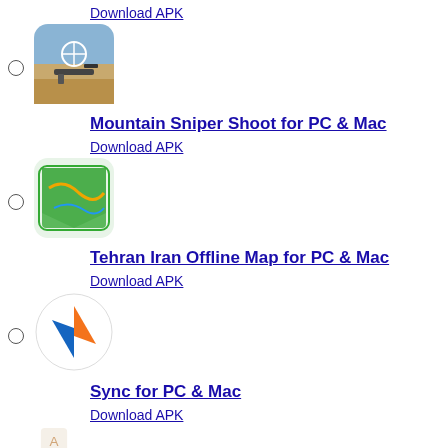Download APK
[Figure (illustration): Mountain Sniper Shoot app icon - sniper scene in desert]
Mountain Sniper Shoot for PC & Mac
Download APK
[Figure (illustration): Tehran Iran Offline Map app icon - map flag]
Tehran Iran Offline Map for PC & Mac
Download APK
[Figure (illustration): Sync app icon - orange and blue triangles on white circle]
Sync for PC & Mac
Download APK
[Figure (illustration): Sync app icon partial at bottom]